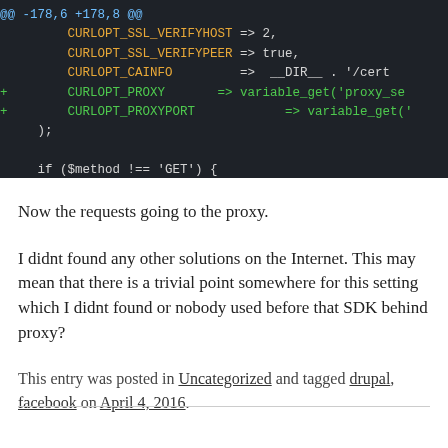[Figure (screenshot): Code diff screenshot showing PHP cURL options with added proxy and proxyport lines, dark background terminal style]
Now the requests going to the proxy.
I didnt found any other solutions on the Internet. This may mean that there is a trivial point somewhere for this setting which I didnt found or nobody used before that SDK behind proxy?
This entry was posted in Uncategorized and tagged drupal, facebook on April 4, 2016.